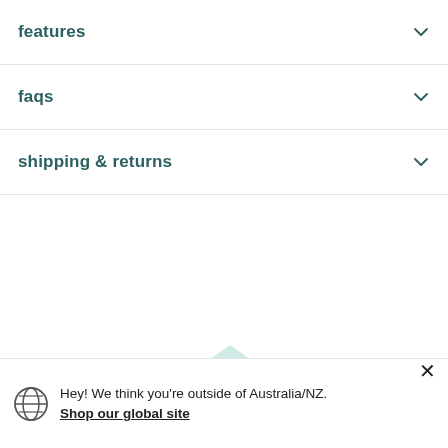features
faqs
shipping & returns
[Figure (illustration): Light mint/green mountain triangle shape in bottom left area of page]
[Figure (other): Dark teal square button with upward arrow icon (back to top)]
Hey! We think you're outside of Australia/NZ. Shop our global site